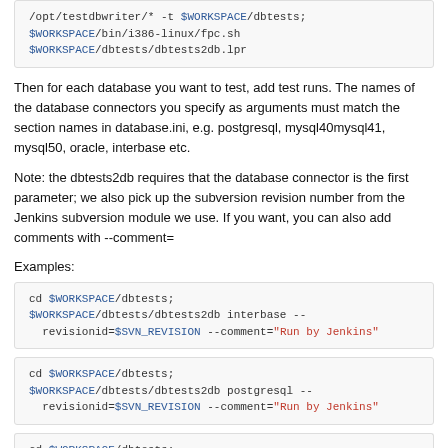/opt/testdbwriter/* -t $WORKSPACE/dbtests;
$WORKSPACE/bin/i386-linux/fpc.sh
$WORKSPACE/dbtests/dbtests2db.lpr
Then for each database you want to test, add test runs. The names of the database connectors you specify as arguments must match the section names in database.ini, e.g. postgresql, mysql40mysql41, mysql50, oracle, interbase etc.
Note: the dbtests2db requires that the database connector is the first parameter; we also pick up the subversion revision number from the Jenkins subversion module we use. If you want, you can also add comments with --comment=
Examples:
cd $WORKSPACE/dbtests;
$WORKSPACE/dbtests/dbtests2db interbase --revisionid=$SVN_REVISION --comment="Run by Jenkins"
cd $WORKSPACE/dbtests;
$WORKSPACE/dbtests/dbtests2db postgresql --revisionid=$SVN_REVISION --comment="Run by Jenkins"
cd $WORKSPACE/dbtests;